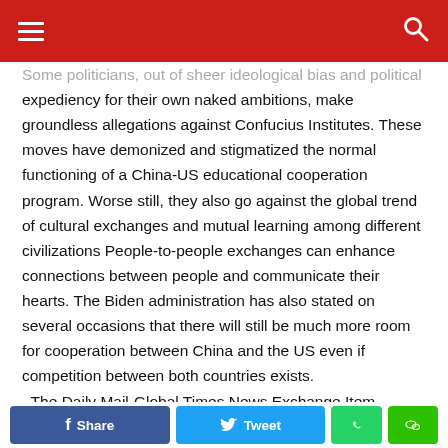[hamburger menu] [search icon]
Some politicians, out of sheer ideological bias and political expediency for their own naked ambitions, make groundless allegations against Confucius Institutes. These moves have demonized and stigmatized the normal functioning of a China-US educational cooperation program. Worse still, they also go against the global trend of cultural exchanges and mutual learning among different civilizations
People-to-people exchanges can enhance connections between people and communicate their hearts. The Biden administration has also stated on several occasions that there will still be much more room for cooperation between China and the US even if competition between both countries exists.
–The Daily Mail-Global Times News Exchange Item